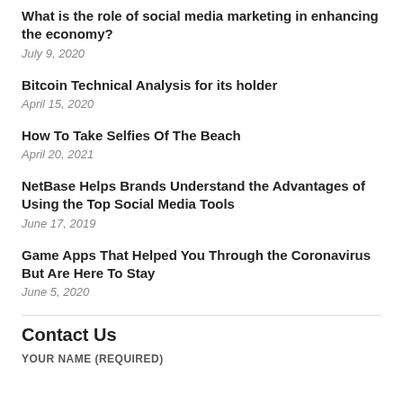What is the role of social media marketing in enhancing the economy?
July 9, 2020
Bitcoin Technical Analysis for its holder
April 15, 2020
How To Take Selfies Of The Beach
April 20, 2021
NetBase Helps Brands Understand the Advantages of Using the Top Social Media Tools
June 17, 2019
Game Apps That Helped You Through the Coronavirus But Are Here To Stay
June 5, 2020
Contact Us
YOUR NAME (REQUIRED)